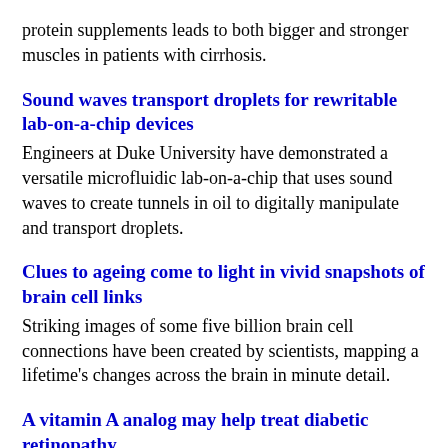protein supplements leads to both bigger and stronger muscles in patients with cirrhosis.
Sound waves transport droplets for rewritable lab-on-a-chip devices
Engineers at Duke University have demonstrated a versatile microfluidic lab-on-a-chip that uses sound waves to create tunnels in oil to digitally manipulate and transport droplets.
Clues to ageing come to light in vivid snapshots of brain cell links
Striking images of some five billion brain cell connections have been created by scientists, mapping a lifetime's changes across the brain in minute detail.
A vitamin A analog may help treat diabetic retinopathy
Diabetic retinopathy is a common complication of diabetes and a leading cause of blindness among the working-age